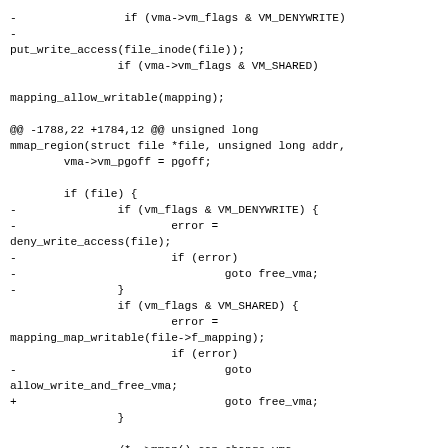[Figure (other): Code diff snippet showing changes to mmap_region function in Linux kernel, with removed lines marked with '-' and added lines marked with '+', using monospace font.]